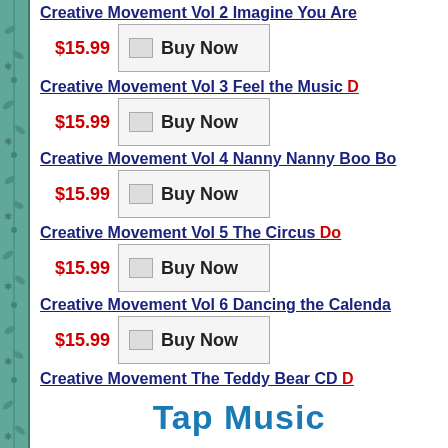Creative Movement Vol 2 Imagine You Are
$15.99  Buy Now
Creative Movement Vol 3 Feel the Music  D
$15.99  Buy Now
Creative Movement Vol 4 Nanny Nanny Boo Bo
$15.99  Buy Now
Creative Movement Vol 5 The Circus  Do
$15.99  Buy Now
Creative Movement Vol 6 Dancing the Calenda
$15.99  Buy Now
Creative Movement The Teddy Bear CD  D
Tap Music